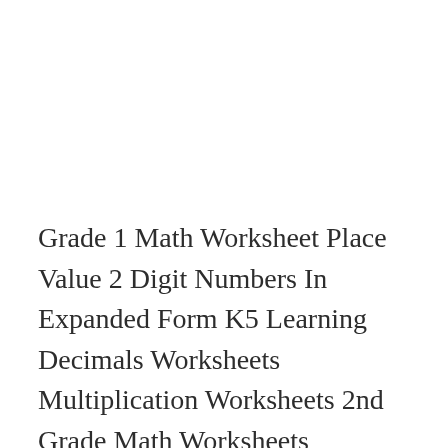Grade 1 Math Worksheet Place Value 2 Digit Numbers In Expanded Form K5 Learning Decimals Worksheets Multiplication Worksheets 2nd Grade Math Worksheets